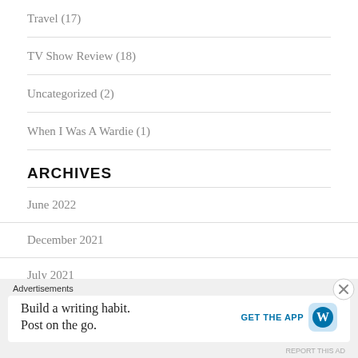Travel (17)
TV Show Review (18)
Uncategorized (2)
When I Was A Wardie (1)
ARCHIVES
June 2022
December 2021
July 2021
June 2021
Advertisements
Build a writing habit. Post on the go.
GET THE APP